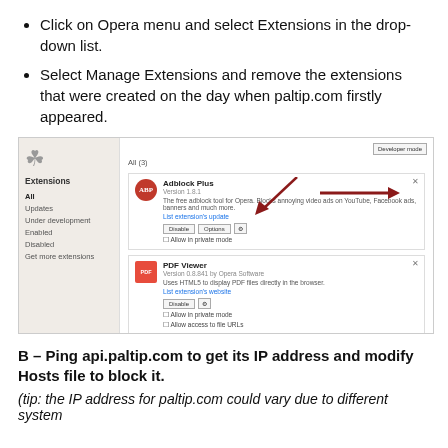Click on Opera menu and select Extensions in the drop-down list.
Select Manage Extensions and remove the extensions that were created on the day when paltip.com firstly appeared.
[Figure (screenshot): Screenshot of Opera browser Extensions manager showing Adblock Plus and PDF Viewer extensions with annotating arrows pointing to the delete (x) button and the Options button.]
B – Ping api.paltip.com to get its IP address and modify Hosts file to block it.
(tip: the IP address for paltip.com could vary due to different system